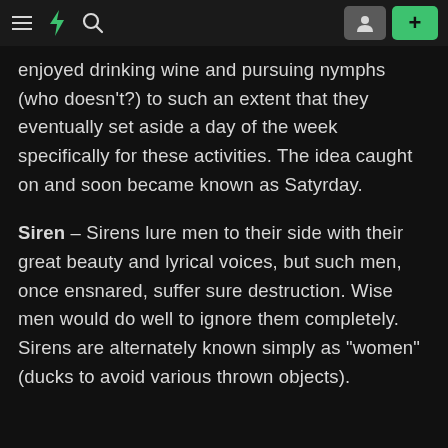≡ ⚡ 🔍  [profile icon] [+]
enjoyed drinking wine and pursuing nymphs (who doesn't?) to such an extent that they eventually set aside a day of the week specifically for these activities. The idea caught on and soon became known as Satyrday.
Siren – Sirens lure men to their side with their great beauty and lyrical voices, but such men, once ensnared, suffer sure destruction. Wise men would do well to ignore them completely. Sirens are alternately known simply as "women" (ducks to avoid various thrown objects).